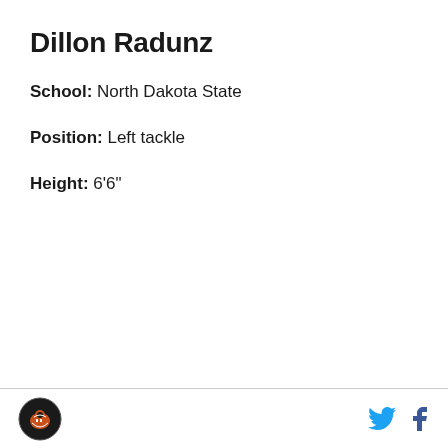Dillon Radunz
School: North Dakota State
Position: Left tackle
Height: 6'6"
SB Nation logo | Twitter | Facebook